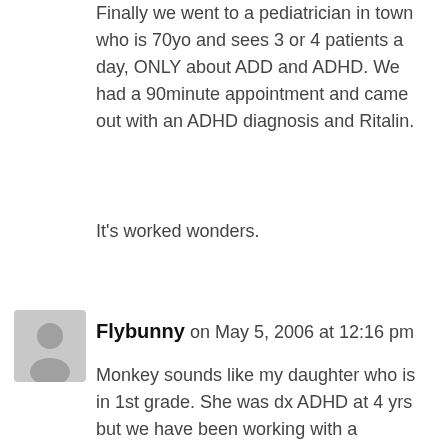Finally we went to a pediatrician in town who is 70yo and sees 3 or 4 patients a day, ONLY about ADD and ADHD. We had a 90minute appointment and came out with an ADHD diagnosis and Ritalin.
It's worked wonders.
Flybunny on May 5, 2006 at 12:16 pm
Monkey sounds like my daughter who is in 1st grade. She was dx ADHD at 4 yrs but we have been working with a psychologist for the last 3 years on behavior modification and just recently started her on ritalin but took her off after only 2 weeks because of extreme anger but it did help her focus. Because we did see improvement, we go back to the dr today to start her on adderall.
We too tried the caffeine test and it did not work. I wish you the best of luck in getting to the bottom